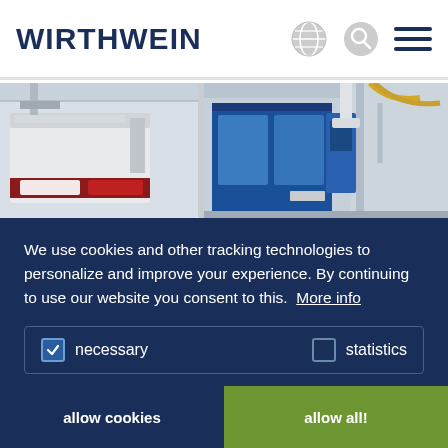WIRTHWEIN
[Figure (photo): Industrial manufacturing facility showing injection molding machines, one on the left labeled 'Battenfeld' and one on the right, in a factory hall.]
We use cookies and other tracking technologies to personalize and improve your experience. By continuing to use our website you consent to this. More info
necessary   statistics
allow cookies   allow all!